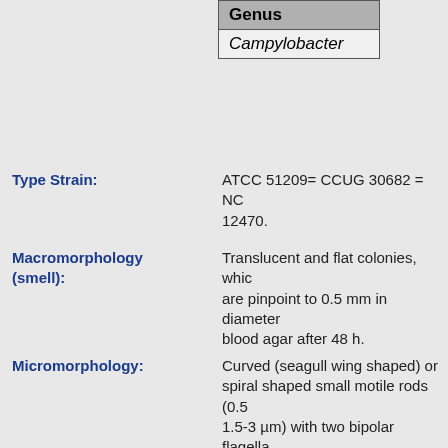| Genus |
| --- |
| Campylobacter |
Type Strain: ATCC 51209= CCUG 30682 = NC 12470.
Macromorphology (smell): Translucent and flat colonies, which are pinpoint to 0.5 mm in diameter on blood agar after 48 h.
Micromorphology: Curved (seagull wing shaped) or spiral shaped small motile rods (0.5 1.5-3 µm) with two bipolar flagella. The motility is darting and rapid.
Gram +/Gram -: G -
Metabolism: Microaerophilic
Catalase/Oxidase: -/+
Other Enzymes: Hippuricase - (hippurate -), urease